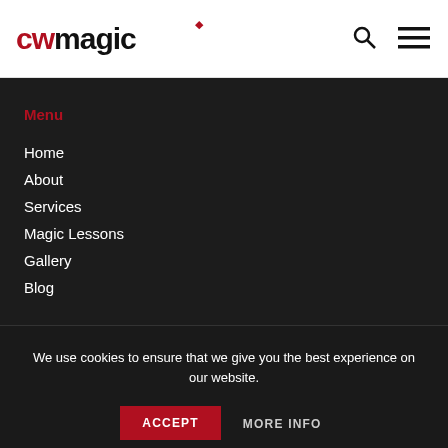[Figure (logo): cwmagic logo with red diamond above the 'i', cw in red, magic in dark]
[Figure (other): Search icon (magnifying glass)]
[Figure (other): Hamburger menu icon (three horizontal lines)]
Menu
Home
About
Services
Magic Lessons
Gallery
Blog
We use cookies to ensure that we give you the best experience on our website.
ACCEPT
MORE INFO